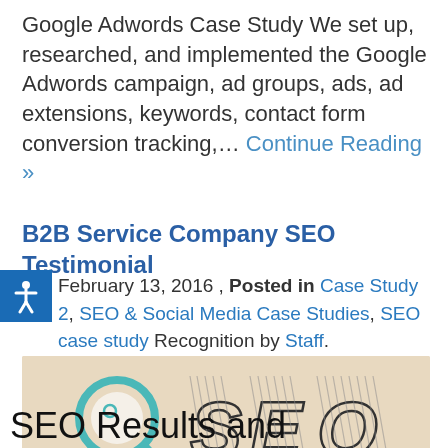Google Adwords Case Study We set up, researched, and implemented the Google Adwords campaign, ad groups, ads, ad extensions, keywords, contact form conversion tracking,… Continue Reading »
B2B Service Company SEO Testimonial
February 13, 2016 , Posted in Case Study 2, SEO & Social Media Case Studies, SEO case study Recognition by Staff.
[Figure (illustration): Illustrated banner showing a magnifying glass and the letters SEO in a sketched/hatched style on a beige background]
SEO Results and consistency